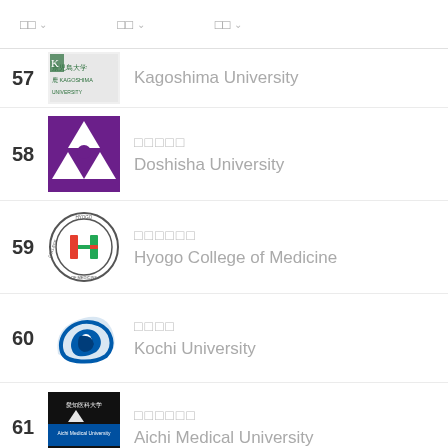□□  □□  □□
57 鹿児島大学 Kagoshima University
58 同志社大学 Doshisha University
59 兵庫医科大学 Hyogo College of Medicine
60 高知大学 Kochi University
61 愛知医科大学 Aichi Medical University